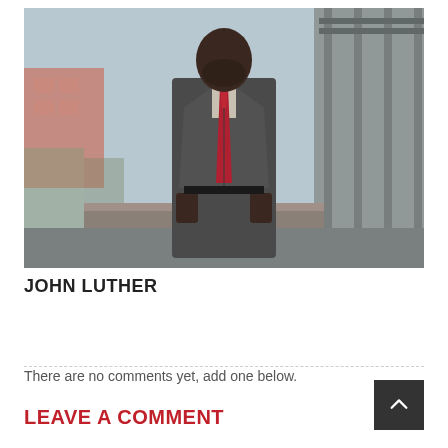[Figure (photo): A man in a grey tweed blazer and red tie, sitting on a railing on an outdoor corridor or balcony. The background shows a cityscape with brick buildings and trees.]
JOHN LUTHER
There are no comments yet, add one below.
LEAVE A COMMENT